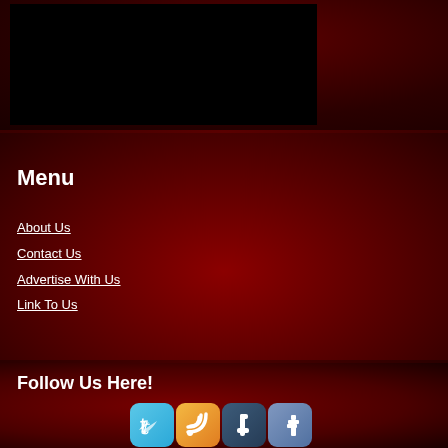[Figure (screenshot): Black rectangle representing a video or image embed area on dark red background]
Menu
About Us
Contact Us
Advertise With Us
Link To Us
Follow Us Here!
[Figure (illustration): Row of four social media icons: Twitter (blue), RSS (orange), Tumblr (dark blue-grey), Facebook (steel blue)]